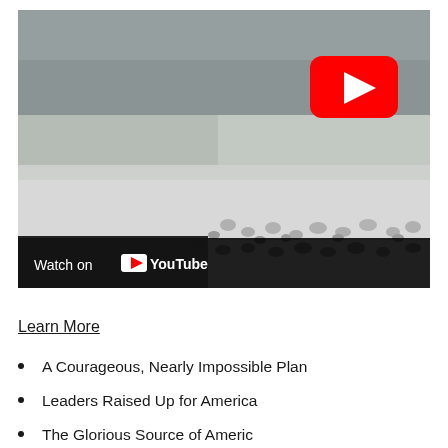[Figure (screenshot): YouTube video thumbnail showing a snowy/icy landscape with footprints. A red YouTube play button is visible in the upper right. The bottom bar shows 'Watch on YouTube'.]
Learn More
A Courageous, Nearly Impossible Plan
Leaders Raised Up for America
The Glorious Source of America